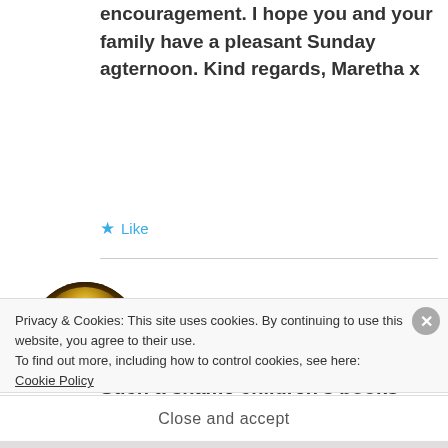encouragement. I hope you and your family have a pleasant Sunday agternoon. Kind regards, Maretha x
★ Like
D.E.Howard
APRIL 22, 2017 AT 15:51
[Figure (photo): Circular avatar image showing an open book with magical glowing light emanating from its pages]
Such a shame children's books don't
Privacy & Cookies: This site uses cookies. By continuing to use this website, you agree to their use.
To find out more, including how to control cookies, see here: Cookie Policy
Close and accept